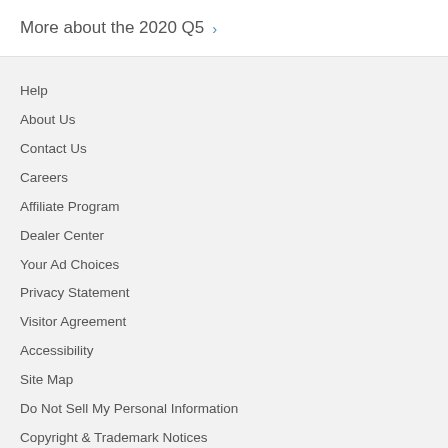More about the 2020 Q5 >
Help
About Us
Contact Us
Careers
Affiliate Program
Dealer Center
Your Ad Choices
Privacy Statement
Visitor Agreement
Accessibility
Site Map
Do Not Sell My Personal Information
Copyright & Trademark Notices
© Edmunds.com, Inc.